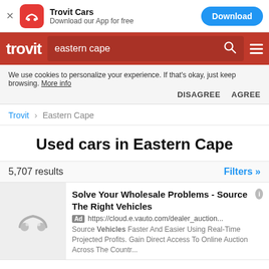[Figure (screenshot): App download banner for Trovit Cars with red icon, app name, subtitle, and blue Download button]
[Figure (screenshot): Trovit red navigation bar with logo, search field containing 'eastern cape', search icon, and hamburger menu]
We use cookies to personalize your experience. If that’s okay, just keep browsing. More info
DISAGREE AGREE
Trovit › Eastern Cape
Used cars in Eastern Cape
5,707 results
Filters »
Solve Your Wholesale Problems - Source The Right Vehicles
Ad https://cloud.e.vauto.com/dealer_auction...
Source Vehicles Faster And Easier Using Real-Time Projected Profits. Gain Direct Access To Online Auction Across The Countr...